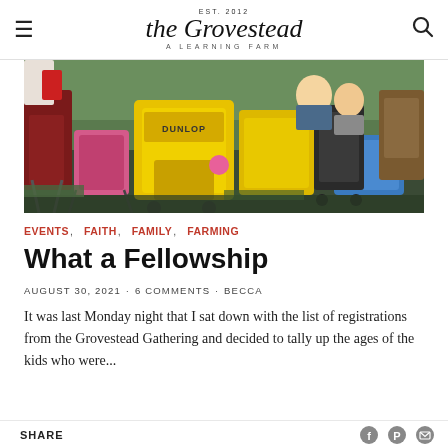EST. 2012 the Grovestead A LEARNING FARM
[Figure (photo): Outdoor gathering scene with people sitting in colorful camping chairs on grass, including yellow, pink, and blue chairs with bags and strollers; a child visible in the background]
EVENTS,   FAITH,   FAMILY,   FARMING
What a Fellowship
AUGUST 30, 2021  ·  6 COMMENTS  ·  BECCA
It was last Monday night that I sat down with the list of registrations from the Grovestead Gathering and decided to tally up the ages of the kids who were...
SHARE